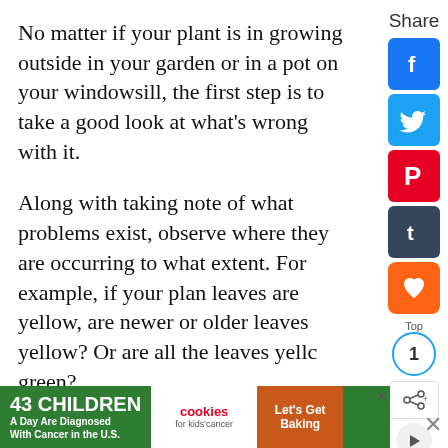No matter if your plant is in growing outside in your garden or in a pot on your windowsill, the first step is to take a good look at what's wrong with it.
Along with taking note of what problems exist, observe where they are occurring to what extent. For example, if your plant leaves are yellow, are newer or older leaves yellow? Or are all the leaves yellow/green?
Also, note when these problems started occurring and how long they've been present.
2. Check the Environment
[Figure (screenshot): Social media share buttons sidebar: Share label, Facebook, Twitter, Pinterest, Tumblr, We Heart It buttons, share count of 1, share icon and play button]
[Figure (infographic): Advertisement banner: 43 CHILDREN A Day Are Diagnosed With Cancer in the U.S. - cookies for kids cancer - Let's Get Baking]